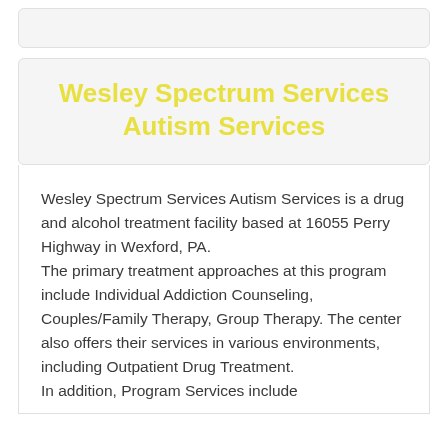Wesley Spectrum Services Autism Services
Wesley Spectrum Services Autism Services is a drug and alcohol treatment facility based at 16055 Perry Highway in Wexford, PA.
The primary treatment approaches at this program include Individual Addiction Counseling, Couples/Family Therapy, Group Therapy. The center also offers their services in various environments, including Outpatient Drug Treatment.